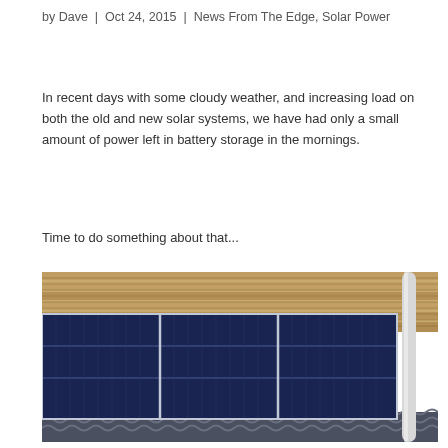by Dave | Oct 24, 2015 | News From The Edge, Solar Power
In recent days with some cloudy weather, and increasing load on both the old and new solar systems, we have had only a small amount of power left in battery storage in the mornings.
Time to do something about that...
[Figure (photo): Photograph of solar panels mounted on a corrugated metal roof, with terracotta roof tiles visible in the background and a white pipe on the right side.]